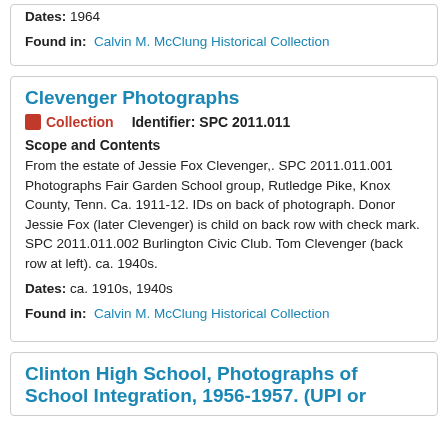Dates: 1964
Found in: Calvin M. McClung Historical Collection
Clevenger Photographs
Collection   Identifier: SPC 2011.011
Scope and Contents
From the estate of Jessie Fox Clevenger,. SPC 2011.011.001 Photographs Fair Garden School group, Rutledge Pike, Knox County, Tenn. Ca. 1911-12. IDs on back of photograph. Donor Jessie Fox (later Clevenger) is child on back row with check mark. SPC 2011.011.002 Burlington Civic Club. Tom Clevenger (back row at left). ca. 1940s.
Dates: ca. 1910s, 1940s
Found in: Calvin M. McClung Historical Collection
Clinton High School, Photographs of School Integration, 1956-1957. (UPI or